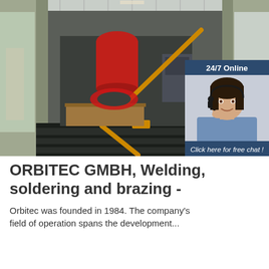[Figure (photo): Photo of industrial welding/brazing equipment packed inside a shipping container, with orange cargo straps securing the machinery. A red fire extinguisher and various industrial components are visible inside the metal container.]
[Figure (photo): 24/7 Online chat widget overlay on top-right of main image. Shows a woman with headset smiling, with text '24/7 Online', 'Click here for free chat!', and an orange 'QUOTATION' button.]
ORBITEC GMBH, Welding, soldering and brazing -
Orbitec was founded in 1984. The company's field of operation spans the development...